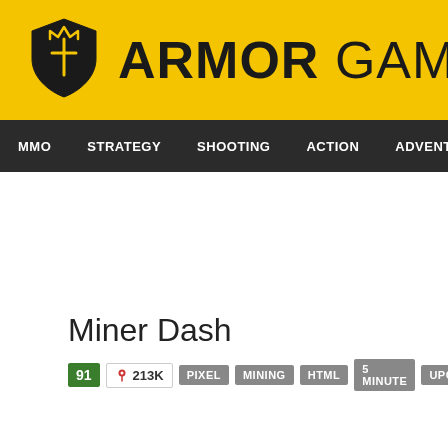[Figure (logo): Armor Games logo: yellow header bar with shield icon and bold ARMOR GAMES text]
MMO  STRATEGY  SHOOTING  ACTION  ADVENTURE  P
Miner Dash
91  213K  PIXEL  MINING  HTML  5 MINUTE  UPGRADE